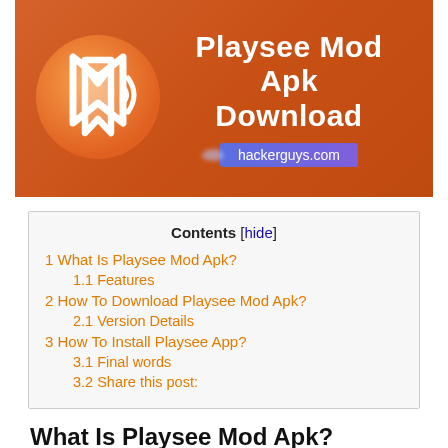[Figure (illustration): Banner image with orange background showing Playsee app logo on left (white geometric bird/arrow icon in gradient orange circle) and bold white text 'Playsee Mod Apk Download' on right with hackerguys.com badge in purple/blue]
| Contents |
| --- |
| 1 What Is Playsee Mod Apk? |
| 1.1 Features |
| 2 How To Download Playsee Mod Apk? |
| 2.1 Version Details |
| 3 How To Install Playsee App? |
| 3.1 Final words |
| 3.2 Share this post: |
What Is Playsee Mod Apk?